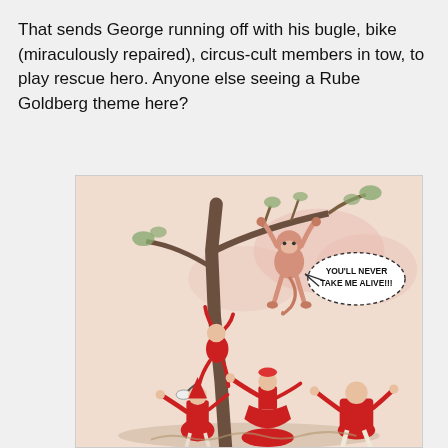That sends George running off with his bugle, bike (miraculously repaired), circus-cult members in tow, to play rescue hero. Anyone else seeing a Rube Goldberg theme here?
[Figure (illustration): Pen-and-watercolor children's book illustration showing a monkey (George) hanging from a tree branch with a speech bubble reading 'YOU'LL NEVER TAKE ME ALIVE!!!', a figure in red climbing the tree trunk, and three people in red circus costumes standing at the base looking up.]